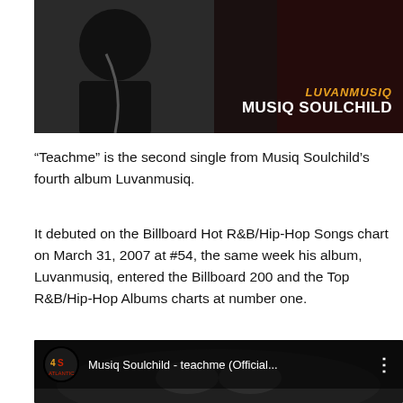[Figure (photo): Album cover image for Luvanmusiq by Musiq Soulchild, dark background with orange/gold text 'LUVANMUSIQ' and white bold text 'MUSIQ SOULCHILD' in the lower right corner]
“Teachme” is the second single from Musiq Soulchild’s fourth album Luvanmusiq.
It debuted on the Billboard Hot R&B/Hip-Hop Songs chart on March 31, 2007 at #54, the same week his album, Luvanmusiq, entered the Billboard 200 and the Top R&B/Hip-Hop Albums charts at number one.
[Figure (screenshot): YouTube video thumbnail/player showing Musiq Soulchild - teachme (Official...) with the Atlantic Records logo and three-dot menu icon on a dark background]